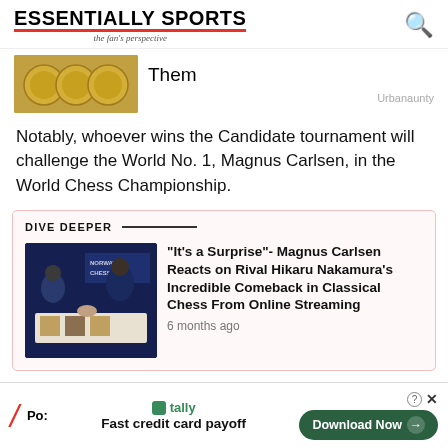ESSENTIALLY SPORTS – the fan's perspective
[Figure (photo): Gold coins image with partial text 'Them' and 'Urbanaunty' source label]
Notably, whoever wins the Candidate tournament will challenge the World No. 1, Magnus Carlsen, in the World Chess Championship.
DIVE DEEPER
[Figure (photo): Chess players at Norway Chess tournament, Magnus Carlsen and Hikaru Nakamura shaking hands over a chess board]
"It's a Surprise"- Magnus Carlsen Reacts on Rival Hikaru Nakamura's Incredible Comeback in Classical Chess From Online Streaming
6 months ago
Po: | tally – Fast credit card payoff | Download Now →